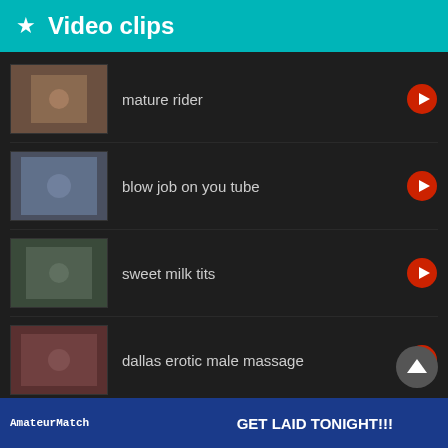★ Video clips
mature rider
blow job on you tube
sweet milk tits
dallas erotic male massage
pei swingers
AmateurMatch  GET LAID TONIGHT!!!